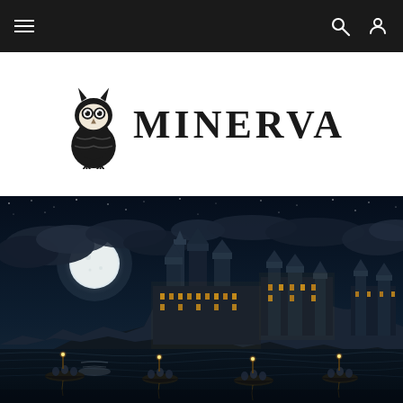Minerva website navigation bar with hamburger menu, search, and user icons
[Figure (logo): Minerva logo: owl icon with MINERVA text in serif letters]
[Figure (photo): Night scene of a large illuminated castle (resembling Hogwarts) on a rocky cliff above dark water, with a full moon visible through clouds, and small boats carrying figures with torches approaching across the water.]